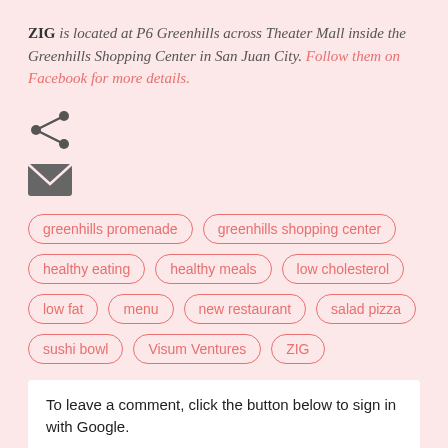ZIG is located at P6 Greenhills across Theater Mall inside the Greenhills Shopping Center in San Juan City. Follow them on Facebook for more details.
[Figure (other): Share icon (less-than style arrow) and email envelope icon]
greenhills promenade
greenhills shopping center
healthy eating
healthy meals
low cholesterol
low fat
menu
new restaurant
salad pizza
sushi bowl
Visum Ventures
ZIG
To leave a comment, click the button below to sign in with Google.